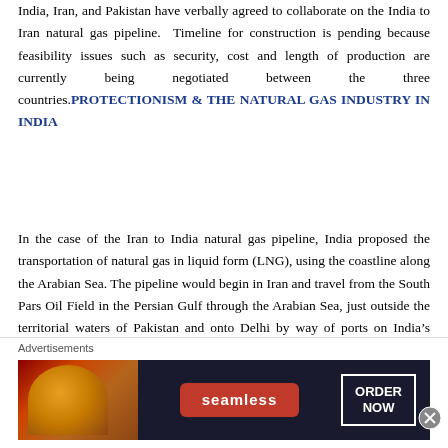India, Iran, and Pakistan have verbally agreed to collaborate on the India to Iran natural gas pipeline.  Timeline for construction is pending because feasibility issues such as security, cost and length of production are currently being negotiated between the three countries.
PROTECTIONISM & THE NATURAL GAS INDUSTRY IN INDIA
In the case of the Iran to India natural gas pipeline, India proposed the transportation of natural gas in liquid form (LNG), using the coastline along the Arabian Sea. The pipeline would begin in Iran and travel from the South Pars Oil Field in the Persian Gulf through the Arabian Sea, just outside the territorial waters of Pakistan and onto Delhi by way of ports on India's western coast.  Pakistan has refused to allow a feasibility study
Advertisements